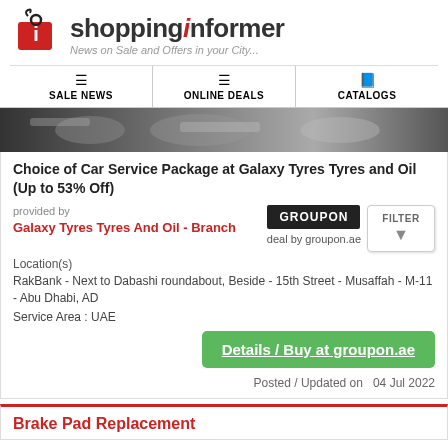shoppinginformer — News on Sale and Offers in your City...
[Figure (screenshot): Car service/engine parts image banner]
Choice of Car Service Package at Galaxy Tyres Tyres and Oil (Up to 53% Off)
provided by
Galaxy Tyres Tyres And Oil - Branch
[Figure (logo): Groupon logo — deal by groupon.ae]
Location(s)
RakBank - Next to Dabashi roundabout, Beside - 15th Street - Musaffah - M-11 - Abu Dhabi, AD
Service Area : UAE
Details / Buy at groupon.ae
Posted / Updated on  04 Jul 2022
Brake Pad Replacement